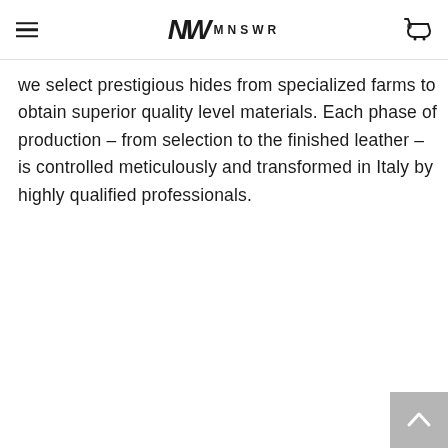MNSWR
we select prestigious hides from specialized farms to obtain superior quality level materials. Each phase of production – from selection to the finished leather – is controlled meticulously and transformed in Italy by highly qualified professionals.